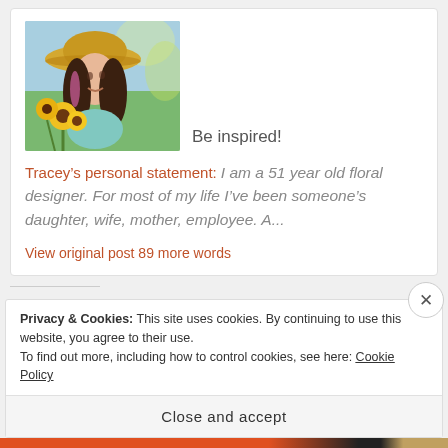[Figure (photo): Photo of a woman wearing a straw hat, holding sunflowers outdoors]
Be inspired!
Tracey’s personal statement:   I am a 51 year old floral designer. For most of my life I’ve been someone’s daughter, wife, mother, employee. A...
View original post 89 more words
Privacy & Cookies: This site uses cookies. By continuing to use this website, you agree to their use.
To find out more, including how to control cookies, see here: Cookie Policy
Close and accept